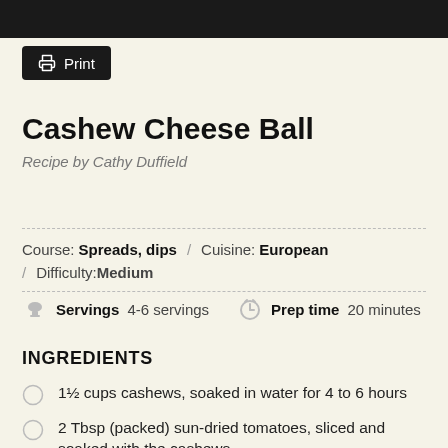[Figure (photo): Dark photo strip at the top of the page showing a partially visible dish]
Print
Cashew Cheese Ball
Recipe by Cathy Duffield
Course: Spreads, dips / Cuisine: European / Difficulty: Medium
Servings 4-6 servings  Prep time 20 minutes
INGREDIENTS
1½ cups cashews, soaked in water for 4 to 6 hours
2 Tbsp (packed) sun-dried tomatoes, sliced and soaked with the cashews
1 Tbsp (heaped) white miso